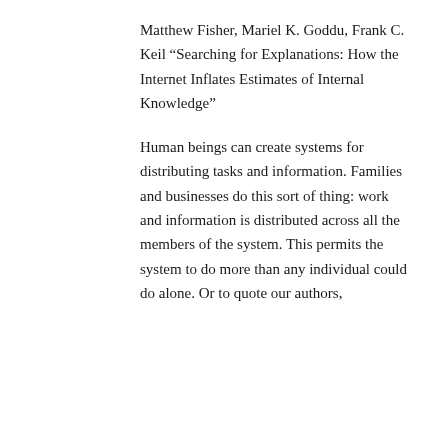Matthew Fisher, Mariel K. Goddu, Frank C. Keil “Searching for Explanations: How the Internet Inflates Estimates of Internal Knowledge”
Human beings can create systems for distributing tasks and information. Families and businesses do this sort of thing: work and information is distributed across all the members of the system. This permits the system to do more than any individual could do alone. Or to quote our authors,